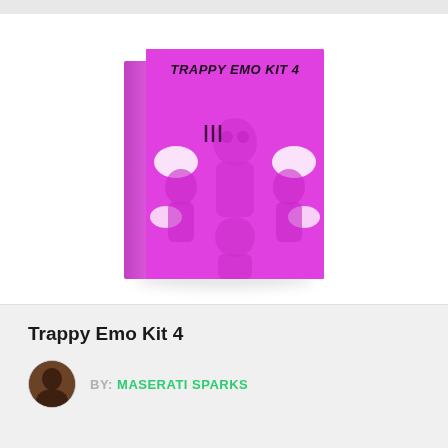[Figure (photo): A pink/magenta 3D product box labeled 'TRAPPY EMO KIT 4' with illustrated character artwork on the front and a left spine visible, displayed against a white background with a subtle shadow.]
Trappy Emo Kit 4
BY: MASERATI SPARKS